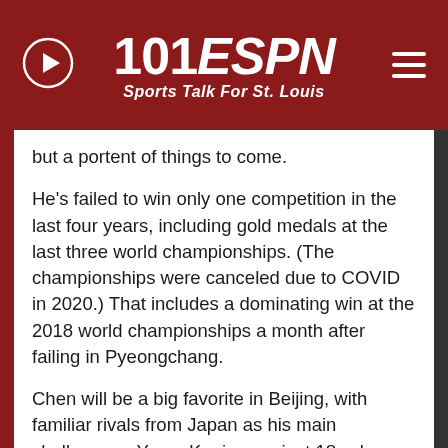101 ESPN Sports Talk For St. Louis
but a portent of things to come.
He's failed to win only one competition in the last four years, including gold medals at the last three world championships. (The championships were canceled due to COVID in 2020.) That includes a dominating win at the 2018 world championships a month after failing in Pyeongchang.
Chen will be a big favorite in Beijing, with familiar rivals from Japan as his main challengers: Yuma Kagiyama, just 18, who won silver at last year's world championships, and two-time defending Olympic gold medalist Yuzuru Hanyu, who led after the short program at the 2021 world championships before literally stumbling in the free skate. But Chen's